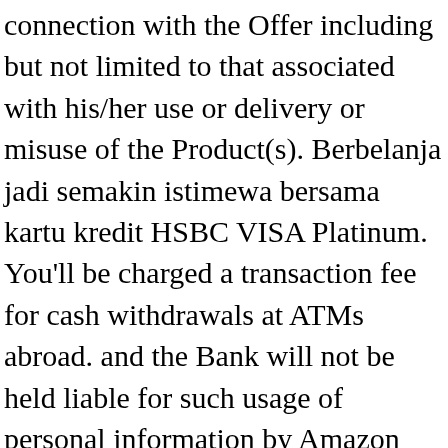connection with the Offer including but not limited to that associated with his/her use or delivery or misuse of the Product(s). Berbelanja jadi semakin istimewa bersama kartu kredit HSBC VISA Platinum. You'll be charged a transaction fee for cash withdrawals at ATMs abroad. and the Bank will not be held liable for such usage of personal information by Amazon Products offered under this Offer are subject to availability with Amazon and HSBC will not be liable for non-availability of any of the products. Apply online now! If you